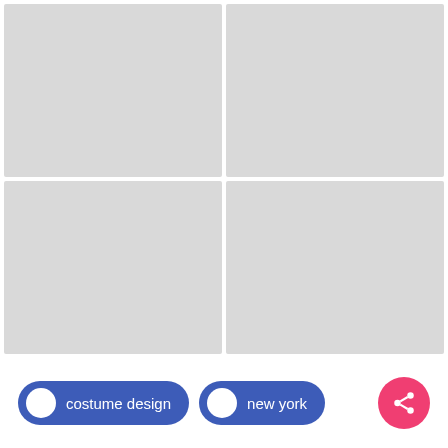[Figure (other): A 2x2 grid of four light gray placeholder image tiles arranged in equal-sized squares separated by thin white gaps]
costume design
new york
[Figure (other): Pink circular share button with share/network icon]